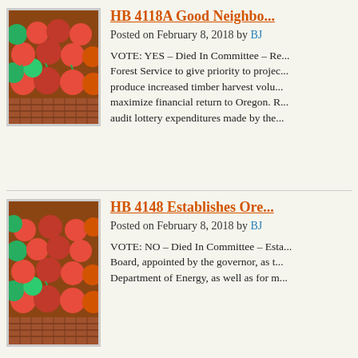[Figure (photo): Photo of red and green tomatoes in baskets at a market stall]
HB 4118A Good Neighbo...
Posted on February 8, 2018 by BJ
VOTE: YES – Died In Committee – Re... Forest Service to give priority to projec... produce increased timber harvest volu... maximize financial return to Oregon. R... audit lottery expenditures made by the...
[Figure (photo): Photo of red and green tomatoes in baskets at a market stall]
HB 4148 Establishes Ore...
Posted on February 8, 2018 by BJ
VOTE: NO – Died In Committee – Esta... Board, appointed by the governor, as t... Department of Energy, as well as for m...